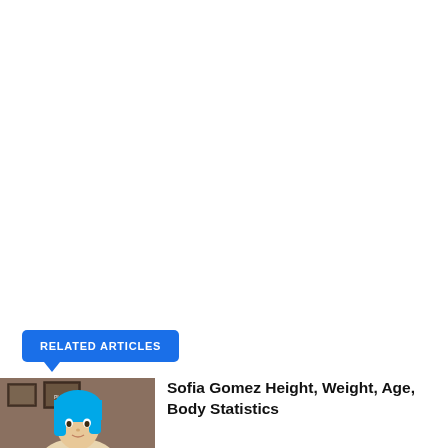RELATED ARTICLES
[Figure (photo): Photo of Sofia Gomez with blue hair]
Sofia Gomez Height, Weight, Age, Body Statistics